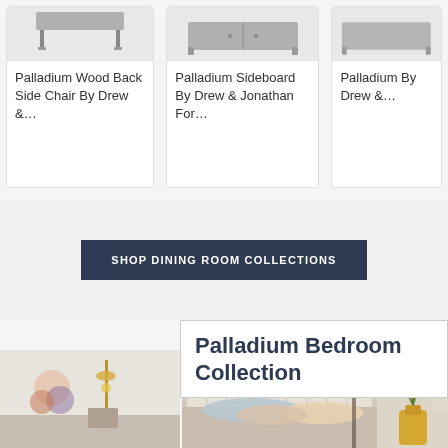[Figure (photo): Product card: Palladium Wood Back Side Chair By Drew & Jonathan — furniture item with legs visible at top]
Palladium Wood Back Side Chair By Drew &…
[Figure (photo): Product card: Palladium Sideboard By Drew & Jonathan For… — furniture item with legs visible at top]
Palladium Sideboard By Drew & Jonathan For…
[Figure (photo): Product card: Palladium … By Drew &… — partial card, cropped on right]
Palladium By Drew &…
SHOP DINING ROOM COLLECTIONS
Palladium Bedroom Collection
[Figure (photo): Bedroom collection lifestyle photos showing styled bedroom with artwork, lamps, upholstered headboard, pillows, and decorative vase with greenery]